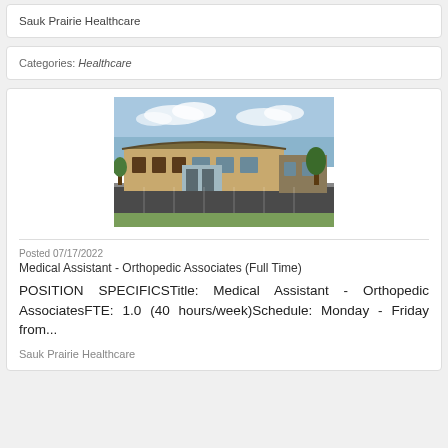Sauk Prairie Healthcare
Categories: Healthcare
[Figure (photo): Exterior view of Sauk Prairie Healthcare building with a parking lot and trees in the background under a partly cloudy sky]
Posted 07/17/2022
Medical Assistant - Orthopedic Associates (Full Time)
POSITION SPECIFICSTitle: Medical Assistant - Orthopedic AssociatesFTE: 1.0 (40 hours/week)Schedule: Monday - Friday from...
Sauk Prairie Healthcare